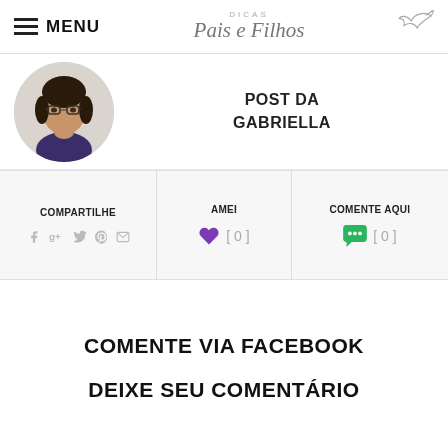MENU | Dicas Pais e Filhos
[Figure (photo): Circular profile photo of a woman with glasses and dark hair]
POST DA GABRIELLA
COMPARTILHE
AMEI [ 0 ]
COMENTE AQUI [ 0 ]
COMENTE VIA FACEBOOK
DEIXE SEU COMENTÁRIO